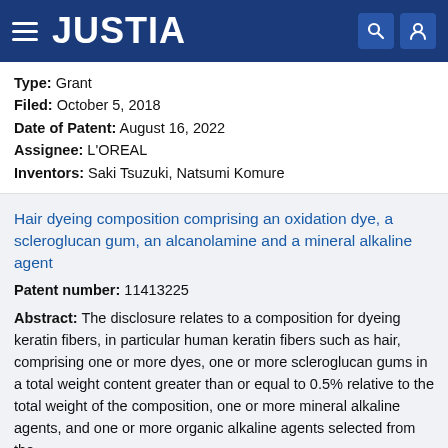JUSTIA
Type: Grant
Filed: October 5, 2018
Date of Patent: August 16, 2022
Assignee: L'OREAL
Inventors: Saki Tsuzuki, Natsumi Komure
Hair dyeing composition comprising an oxidation dye, a scleroglucan gum, an alcanolamine and a mineral alkaline agent
Patent number: 11413225
Abstract: The disclosure relates to a composition for dyeing keratin fibers, in particular human keratin fibers such as hair, comprising one or more dyes, one or more scleroglucan gums in a total weight content greater than or equal to 0.5% relative to the total weight of the composition, one or more mineral alkaline agents, and one or more organic alkaline agents selected from the